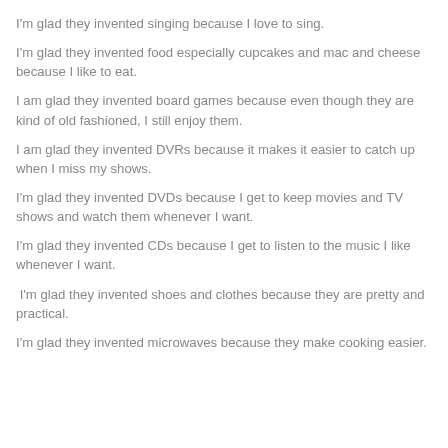I'm glad they invented singing because I love to sing.
I'm glad they invented food especially cupcakes and mac and cheese because I like to eat.
I am glad they invented board games because even though they are kind of old fashioned, I still enjoy them.
I am glad they invented DVRs because it makes it easier to catch up when I miss my shows.
I'm glad they invented DVDs because I get to keep movies and TV shows and watch them whenever I want.
I'm glad they invented CDs because I get to listen to the music I like whenever I want.
I'm glad they invented shoes and clothes because they are pretty and practical.
I'm glad they invented microwaves because they make cooking easier.